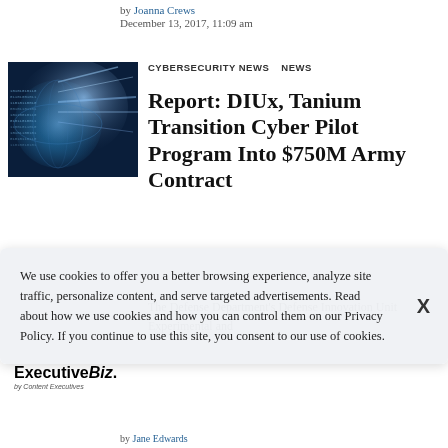by Joanna Crews
December 13, 2017, 11:09 am
[Figure (photo): Cybersecurity themed image: globe with digital binary code and blue light rays]
CYBERSECURITY NEWS   NEWS
Report: DIUx, Tanium Transition Cyber Pilot Program Into $750M Army Contract
The Defense Department's Defense Innovation Unit Experimental and
We use cookies to offer you a better browsing experience, analyze site traffic, personalize content, and serve targeted advertisements. Read about how we use cookies and how you can control them on our Privacy Policy. If you continue to use this site, you consent to our use of cookies.
[Figure (logo): ExecutiveBiz logo with tagline 'by Crowder Executives']
by Jane Edwards